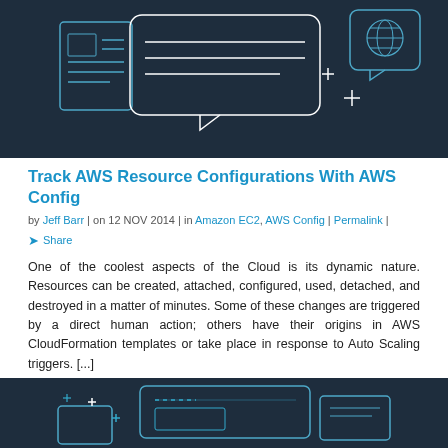[Figure (illustration): Dark navy background illustration with line-art icons: a document with chart, speech bubble with lines, and a globe chat bubble with plus/cross decorations]
Track AWS Resource Configurations With AWS Config
by Jeff Barr | on 12 NOV 2014 | in Amazon EC2, AWS Config | Permalink | Share
One of the coolest aspects of the Cloud is its dynamic nature. Resources can be created, attached, configured, used, detached, and destroyed in a matter of minutes. Some of these changes are triggered by a direct human action; others have their origins in AWS CloudFormation templates or take place in response to Auto Scaling triggers. [...]
Read More
[Figure (illustration): Dark navy background illustration with line-art icons showing mobile/tablet devices with plus/cross decorations]